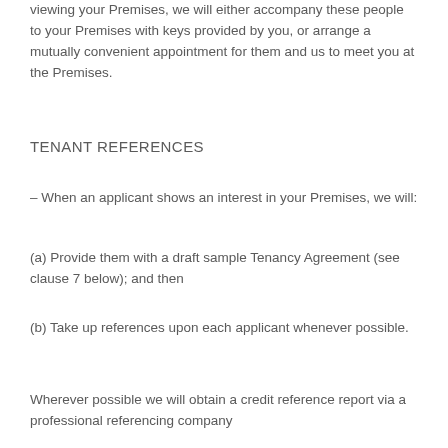viewing your Premises, we will either accompany these people to your Premises with keys provided by you, or arrange a mutually convenient appointment for them and us to meet you at the Premises.
TENANT REFERENCES
– When an applicant shows an interest in your Premises, we will:
(a) Provide them with a draft sample Tenancy Agreement (see clause 7 below); and then
(b) Take up references upon each applicant whenever possible.
Wherever possible we will obtain a credit reference report via a professional referencing company